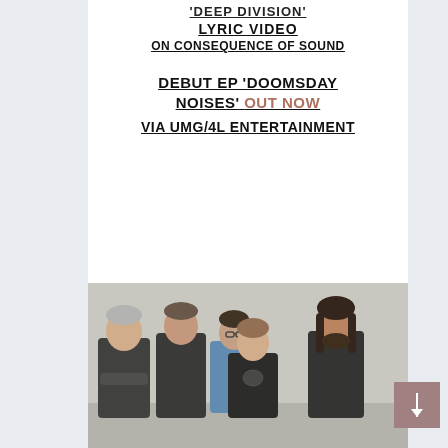'DEEP DIVISION'
LYRIC VIDEO
ON CONSEQUENCE OF SOUND
DEBUT EP 'DOOMSDAY NOISES' OUT NOW VIA UMG/4L ENTERTAINMENT
[Figure (photo): Band photo of five musicians standing together against a light concrete wall. From left: older man with gray hair in dark jacket with arms crossed, man in dark jacket, woman with glasses in blue vest, young man in black graphic tee, man with long dark hair and beard.]